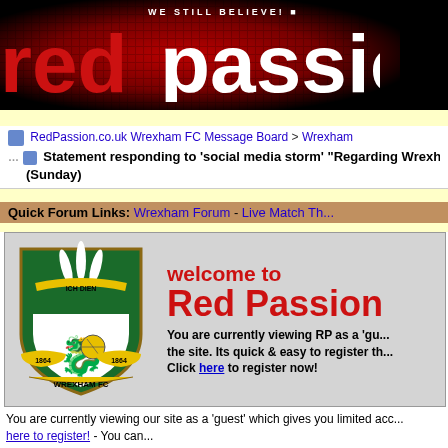[Figure (logo): Red Passion website header banner with 'WE STILL BELIEVE!' text and redpassion logo in red on black background]
RedPassion.co.uk Wrexham FC Message Board > Wrexham
Statement responding to 'social media storm' "Regarding Wrexham (Sunday)
Quick Forum Links: Wrexham Forum - Live Match Th...
[Figure (illustration): Welcome to Red Passion banner with Wrexham FC crest. Text: welcome to Red Passion. You are currently viewing RP as a 'guest'... Click here to register now!]
You are currently viewing our site as a 'guest' which gives you limited access... here to register! - You can...